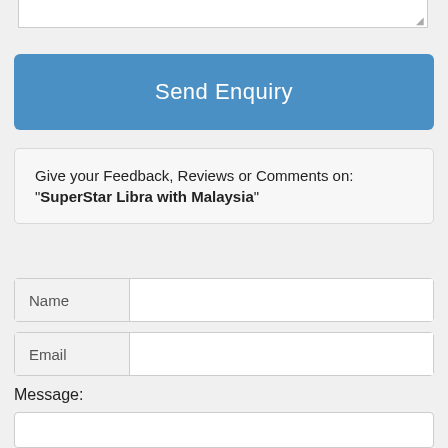[Figure (screenshot): Top portion of a textarea input field (partially visible at top of page)]
Send Enquiry
Give your Feedback, Reviews or Comments on: "SuperStar Libra with Malaysia"
Name
Email
Message:
[Figure (screenshot): Message textarea input field (partially visible at bottom of page)]